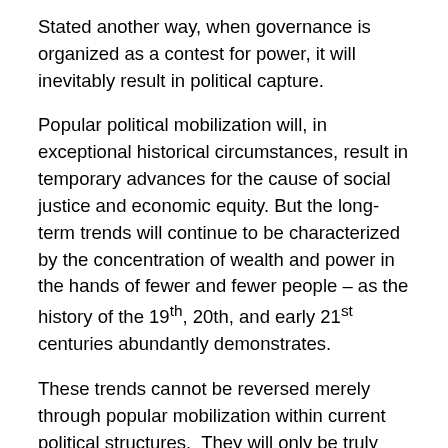Stated another way, when governance is organized as a contest for power, it will inevitably result in political capture.
Popular political mobilization will, in exceptional historical circumstances, result in temporary advances for the cause of social justice and economic equity. But the long-term trends will continue to be characterized by the concentration of wealth and power in the hands of fewer and fewer people – as the history of the 19th, 20th, and early 21st centuries abundantly demonstrates.
These trends cannot be reversed merely through popular mobilization within current political structures.  They will only be truly reversed when the organizing logic of interest-group competition is replaced with a new